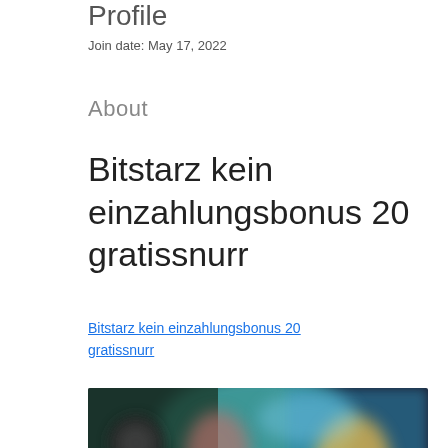Profile
Join date: May 17, 2022
About
Bitstarz kein einzahlungsbonus 20 gratissnurr
Bitstarz kein einzahlungsbonus 20 gratissnurr
[Figure (photo): Blurred screenshot of an online casino game interface with colorful graphics and characters on a dark background]